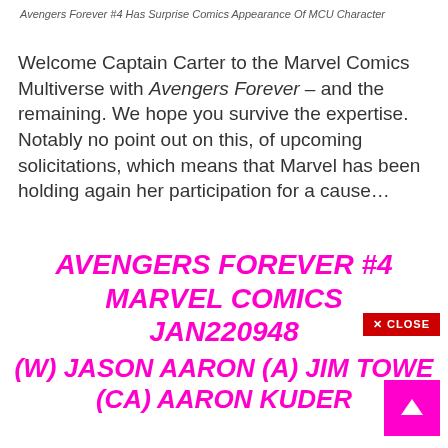Avengers Forever #4 Has Surprise Comics Appearance Of MCU Character
Welcome Captain Carter to the Marvel Comics Multiverse with Avengers Forever – and the remaining. We hope you survive the expertise. Notably no point out on this, of upcoming solicitations, which means that Marvel has been holding again her participation for a cause…
AVENGERS FOREVER #4
MARVEL COMICS
JAN220948
(W) JASON AARON (A) JIM TOWE
(CA) AARON KUDER
[Figure (screenshot): Close button with X CLOSE label in red]
[Figure (screenshot): Scroll to top button with up arrow in magenta/pink]